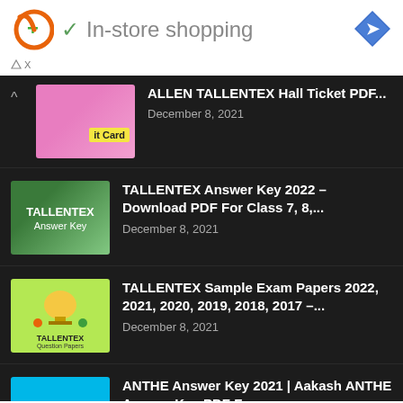[Figure (screenshot): Mobile app top bar with logo, In-store shopping label, and navigation icon]
ALLEN TALLENTEX Hall Ticket PDF...
December 8, 2021
TALLENTEX Answer Key 2022 – Download PDF For Class 7, 8,...
December 8, 2021
TALLENTEX Sample Exam Papers 2022, 2021, 2020, 2019, 2018, 2017 –...
December 8, 2021
ANTHE Answer Key 2021 | Aakash ANTHE Answer Key PDF For...
December 8, 2021